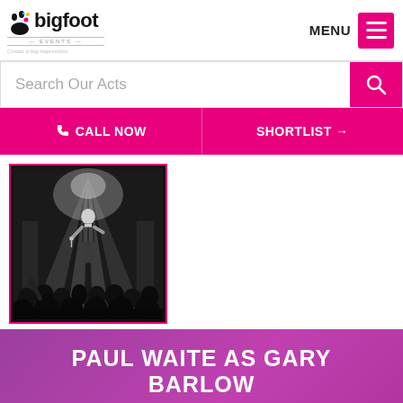[Figure (logo): Bigfoot Events logo with footprint icon and tagline 'Create a big impression']
MENU
Search Our Acts
CALL NOW
SHORTLIST →
[Figure (photo): Black and white photo of a male performer on stage singing into a microphone with stage lighting and audience silhouettes in foreground]
PAUL WAITE AS GARY BARLOW